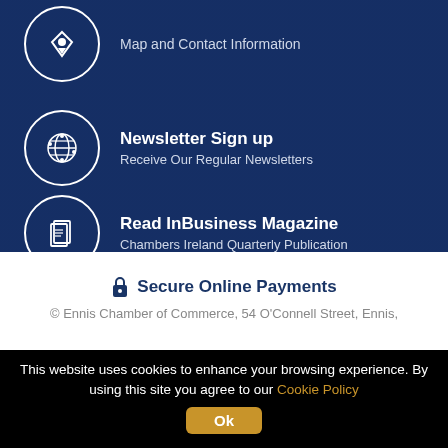[Figure (infographic): Dark blue banner section with navigation items on a faded cityscape background. First item shows a map pin icon in a circle with text 'Map and Contact Information'. Second item shows a globe/network icon in a circle with bold title 'Newsletter Sign up' and subtitle 'Receive Our Regular Newsletters'. Third item shows a magazine/document icon in a circle with bold title 'Read InBusiness Magazine' and subtitle 'Chambers Ireland Quarterly Publication'.]
🔒 Secure Online Payments
© Ennis Chamber of Commerce, 54 O'Connell Street, Ennis,
This website uses cookies to enhance your browsing experience. By using this site you agree to our Cookie Policy
Ok